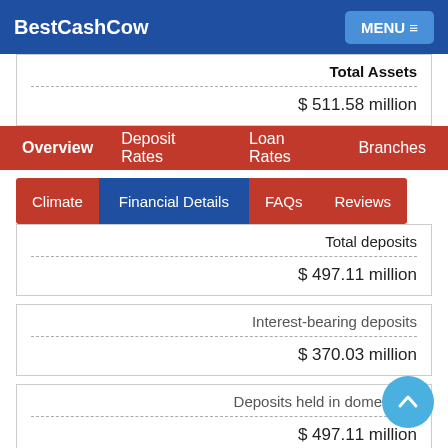BestCashCow  MENU
Total Assets
$ 511.58 million
Overview  Deposit Rates  Loan Rates  Branches
Climate  Financial Details  FAQs  Reviews
Total deposits
$ 497.11 million
Interest-bearing deposits
$ 370.03 million
Deposits held in domestic o...
$ 497.11 million